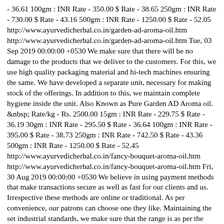- 36.61 100gm : INR Rate - 350.00 $ Rate - 38.65 250gm : INR Rate - 730.00 $ Rate - 43.16 500gm : INR Rate - 1250.00 $ Rate - 52.05 http://www.ayurvedicherbal.co.in/garden-ad-aroma-oil.htm http://www.ayurvedicherbal.co.in/garden-ad-aroma-oil.htm Tue, 03 Sep 2019 00:00:00 +0530 We make sure that there will be no damage to the products that we deliver to the customers. For this, we use high quality packaging material and hi-tech machines ensuring the same. We have developed a separate unit, necessary for making stock of the offerings. In addition to this, we maintain complete hygiene inside the unit. Also Known as Pure Garden AD Aroma oil. &nbsp; Rate/kg - Rs. 2500.00 15gm : INR Rate - 229.75 $ Rate - 36.19 30gm : INR Rate - 295.50 $ Rate - 36.64 100gm : INR Rate - 395.00 $ Rate - 38.73 250gm : INR Rate - 742.50 $ Rate - 43.36 500gm : INR Rate - 1250.00 $ Rate - 52.45 http://www.ayurvedicherbal.co.in/fancy-bouquet-aroma-oil.htm http://www.ayurvedicherbal.co.in/fancy-bouquet-aroma-oil.htm Fri, 30 Aug 2019 00:00:00 +0530 We believe in using payment methods that make transactions secure as well as fast for our clients and us. Irrespective these methods are online or traditional. As per convenience, our patrons can choose one they like. Maintaining the set industrial standards, we make sure that the range is as per the requirements. Also Known as Pure Fancy Bouquet Aroma oil. &nbsp; Rate/kg - Rs. 2400.00 15gm : INR Rate - 228.50 $ Rate - 36.20 30gm : INR Rate - 297.00 $ Rate - 36.66 100gm : INR Rate - 390.00 $ Rate - 38.81 250gm : INR Rate